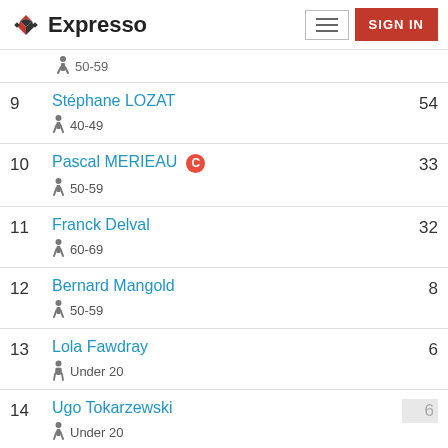Expresso — SIGN IN
9 Stéphane LOZAT 40-49 54
10 Pascal MERIEAU C 50-59 33
11 Franck Delval 60-69 32
12 Bernard Mangold 50-59 8
13 Lola Fawdray Under 20 6
14 Ugo Tokarzewski Under 20 6